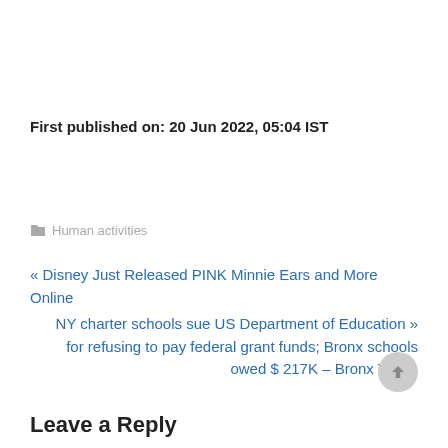First published on: 20 Jun 2022, 05:04 IST
Human activities
« Disney Just Released PINK Minnie Ears and More Online
NY charter schools sue US Department of Education » for refusing to pay federal grant funds; Bronx schools owed $ 217K – Bronx Times
Leave a Reply